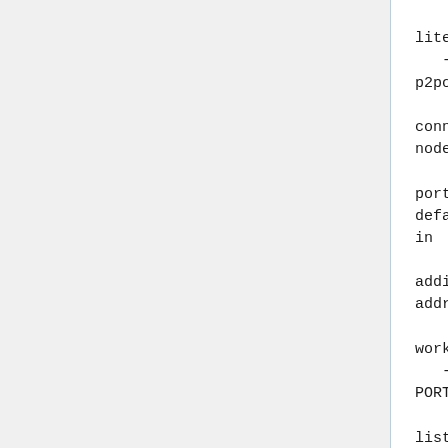litecoin:9338)
   -n ADDR[:PORT], --p2pool-node ADDR[:PORT]

connect to existing p2pool node at ADDR listening on

port PORT (defaults to default p2pool P2P port) in

addition to builtin addresses

worker interface:
   -w PORT, --worker-port PORT

listen on PORT for RPC connections from miners

(default: bitcoin:9332, litecoin:9327)
   -f FEE_PERCENTAGE, --fee